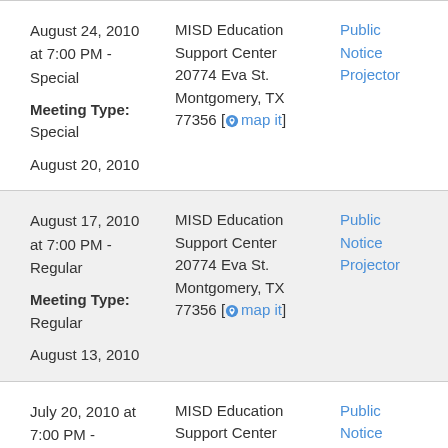August 24, 2010 at 7:00 PM - Special
Meeting Type: Special
August 20, 2010
MISD Education Support Center 20774 Eva St. Montgomery, TX 77356 [map it]
Public Notice Projector
August 17, 2010 at 7:00 PM - Regular
Meeting Type: Regular
August 13, 2010
MISD Education Support Center 20774 Eva St. Montgomery, TX 77356 [map it]
Public Notice Projector
July 20, 2010 at 7:00 PM -
MISD Education Support Center
Public Notice Projector